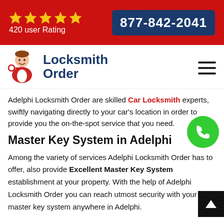★★★★★ 420 user Rating | 877-842-2041
[Figure (logo): Locksmith Order logo with locksmith character illustration and blue text 'Locksmith Order']
Adelphi Locksmith Order are skilled Car Locksmith experts, swiftly navigating directly to your car's location in order to provide you the on-the-spot service that you need.
Master Key System in Adelphi
Among the variety of services Adelphi Locksmith Order has to offer, also provide Excellent Master Key System establishment at your property. With the help of Adelphi Locksmith Order you can reach utmost security with your master key system anywhere in Adelphi.